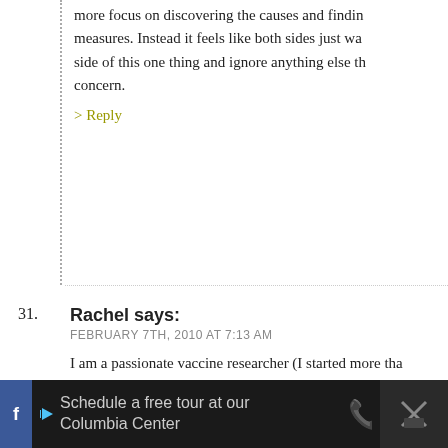more focus on discovering the causes and finding measures. Instead it feels like both sides just wa side of this one thing and ignore anything else th concern.
> Reply
31. Rachel says: FEBRUARY 7TH, 2010 AT 7:13 AM
I am a passionate vaccine researcher (I started more tha when my daughter was an infant). My journey started innocently mom's friend asked if I was vaccinating...and I said yes...why? S ask me if knew the ingredients and adverse reactions of the giving her...and quite honestly I couldn't answer her. She then allow
Schedule a free tour at our Columbia Center